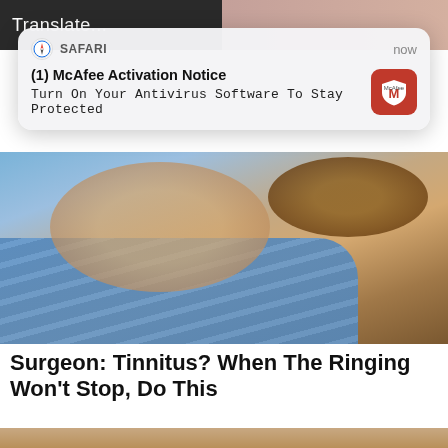[Figure (screenshot): Top strip of a mobile browser screen showing partial text 'Translate...' and a photo of a person in background]
[Figure (screenshot): Mobile browser notification banner from Safari showing McAfee Activation Notice with McAfee red shield icon]
[Figure (photo): Close-up photo of a man's face, smiling, wearing a blue striped shirt]
Surgeon: Tinnitus? When The Ringing Won't Stop, Do This
[Figure (photo): Close-up photo of an elderly woman's face showing lips with red lipstick and wrinkled skin]